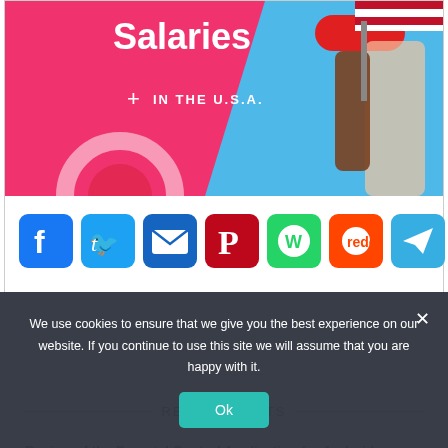[Figure (infographic): Infographic banner about Salaries in the U.S.A. with pink and blue background, decorative icons, and an illustrated person holding a U.S. flag]
[Figure (other): Row of social media sharing icons: Facebook, Twitter, Email, Pinterest, WhatsApp, Reddit, Telegram, Messenger, Share (plus)]
RECENT POSTS
Review of the Parental Control Application for Android
How To Look Up An FCC Id
We use cookies to ensure that we give you the best experience on our website. If you continue to use this site we will assume that you are happy with it.